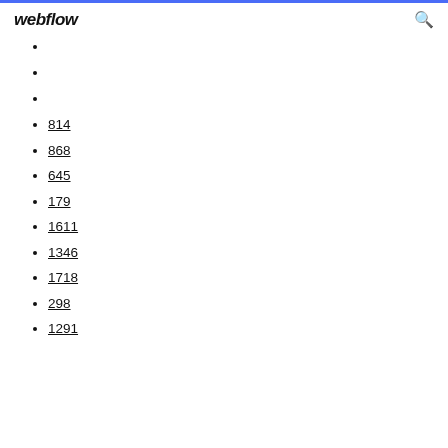webflow
814
868
645
179
1611
1346
1718
298
1291